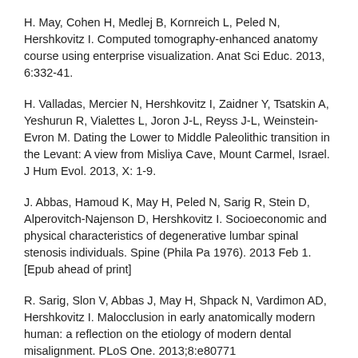H. May, Cohen H, Medlej B, Kornreich L, Peled N, Hershkovitz I. Computed tomography-enhanced anatomy course using enterprise visualization. Anat Sci Educ. 2013, 6:332-41.
H. Valladas, Mercier N, Hershkovitz I, Zaidner Y, Tsatskin A, Yeshurun R, Vialettes L, Joron J-L, Reyss J-L, Weinstein-Evron M. Dating the Lower to Middle Paleolithic transition in the Levant: A view from Misliya Cave, Mount Carmel, Israel. J Hum Evol. 2013, X: 1-9.
J. Abbas, Hamoud K, May H, Peled N, Sarig R, Stein D, Alperovitch-Najenson D, Hershkovitz I. Socioeconomic and physical characteristics of degenerative lumbar spinal stenosis individuals. Spine (Phila Pa 1976). 2013 Feb 1. [Epub ahead of print]
R. Sarig, Slon V, Abbas J, May H, Shpack N, Vardimon AD, Hershkovitz I. Malocclusion in early anatomically modern human: a reflection on the etiology of modern dental misalignment. PLoS One. 2013;8:e80771
Slon V, Sarig R, Hershkovitz I, Khalaily H, Milevski I. The plastered skulls from the Pre-Pottery Neolithic B site of Yiftahel (Israel)--a computed tomographybased analysis. PLoS